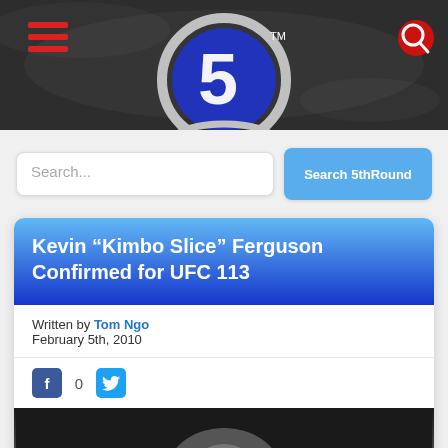[Figure (logo): 5th Round MMA website header with logo: blue metallic '5' in a chain circle, hamburger menu icon in red on left, red search icon on right, dark arena background]
Search...
Search 5thRound
Kevin “Kimbo Slice” Ferguson Confirmed for UFC 113
Written by Tom Ngo
February 5th, 2010
[Figure (photo): Partial photo of a person's face/head at the bottom of the article card]